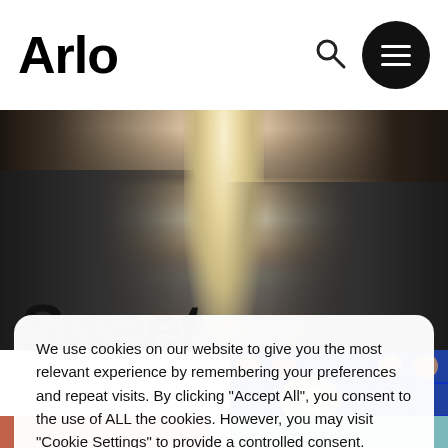Arlo
[Figure (photo): Street view of a busy city road with cars parked on both sides, pedestrians on sidewalks, and bright sunlight at the end of the street]
Sweet
[Figure (photo): Blue decorative tiles with round objects on surface, restaurant or cafe setting]
We use cookies on our website to give you the most relevant experience by remembering your preferences and repeat visits. By clicking “Accept All”, you consent to the use of ALL the cookies. However, you may visit "Cookie Settings" to provide a controlled consent.
Cookie Settings
Accept All